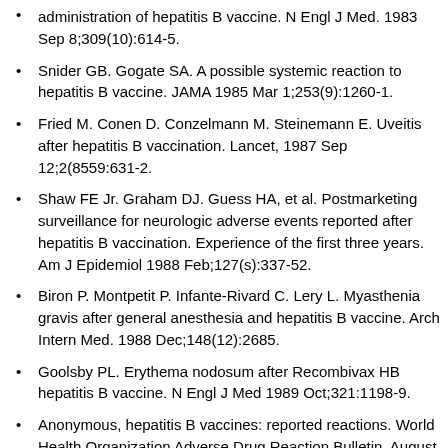administration of hepatitis B vaccine. N Engl J Med. 1983 Sep 8;309(10):614-5.
Snider GB. Gogate SA. A possible systemic reaction to hepatitis B vaccine. JAMA 1985 Mar 1;253(9):1260-1.
Fried M. Conen D. Conzelmann M. Steinemann E. Uveitis after hepatitis B vaccination. Lancet, 1987 Sep 12;2(8559:631-2.
Shaw FE Jr. Graham DJ. Guess HA, et al. Postmarketing surveillance for neurologic adverse events reported after hepatitis B vaccination. Experience of the first three years. Am J Epidemiol 1988 Feb;127(s):337-52.
Biron P. Montpetit P. Infante-Rivard C. Lery L. Myasthenia gravis after general anesthesia and hepatitis B vaccine. Arch Intern Med. 1988 Dec;148(12):2685.
Goolsby PL. Erythema nodosum after Recombivax HB hepatitis B vaccine. N Engl J Med 1989 Oct;321:1198-9.
Anonymous, hepatitis B vaccines: reported reactions. World Health Organization Adverse Drug Reaction Bulletin. August 1990.
Cockwell P. Allen MB. Page R. Vasculitis related to hepatitis B vaccine. BMJ 1990 Dec 1;301(6763):1281.
Tudela P. Marti S. Bonal J. Systemic lupus orthomoatosus and